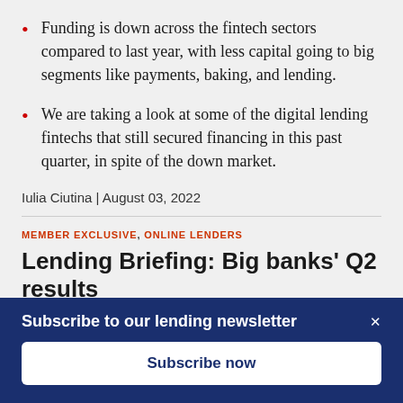Funding is down across the fintech sectors compared to last year, with less capital going to big segments like payments, baking, and lending.
We are taking a look at some of the digital lending fintechs that still secured financing in this past quarter, in spite of the down market.
Iulia Ciutina | August 03, 2022
MEMBER EXCLUSIVE, ONLINE LENDERS
Lending Briefing: Big banks' Q2 results
Subscribe to our lending newsletter
Subscribe now